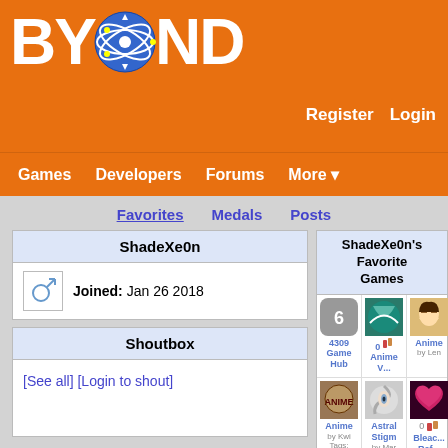BYOND
Register  Login
Games  Developers  Forums  More
Favorites  Medals  Posts
ShadeXe0n
Joined: Jan 26 2018
Shoutbox
[See all] [Login to shout]
ShadeXe0n's Favorite Games
4309 Game Hub
Anime V...
Anim... by Len
Anim... by Kwi  Tags:
Astral Stigm by Mar
0  Bleac... Ref...